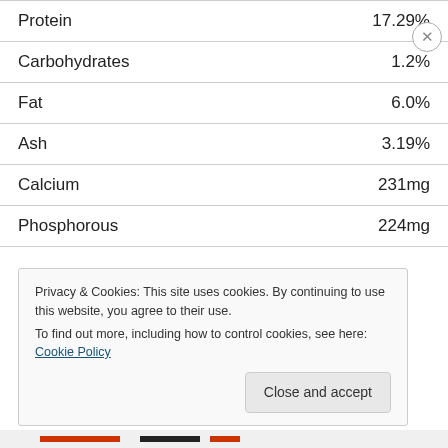| Nutrient | Value |
| --- | --- |
| Protein | 17.29% |
| Carbohydrates | 1.2% |
| Fat | 6.0% |
| Ash | 3.19% |
| Calcium | 231mg |
| Phosphorous | 224mg |
Privacy & Cookies: This site uses cookies. By continuing to use this website, you agree to their use.
To find out more, including how to control cookies, see here: Cookie Policy
Close and accept